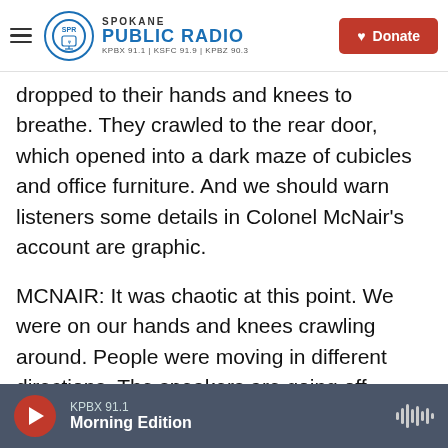Spokane Public Radio — KPBX 91.1 | KSFC 91.9 | KPBZ 90.3
dropped to their hands and knees to breathe. They crawled to the rear door, which opened into a dark maze of cubicles and office furniture. And we should warn listeners some details in Colonel McNair's account are graphic.
MCNAIR: It was chaotic at this point. We were on our hands and knees crawling around. People were moving in different directions. The speakers are going off, saying, please evacuate the building. There was so much smoke, and you could see pockets of fire that we weren't sure how we could get out. The sprinklers came on, which we were
KPBX 91.1 — Morning Edition